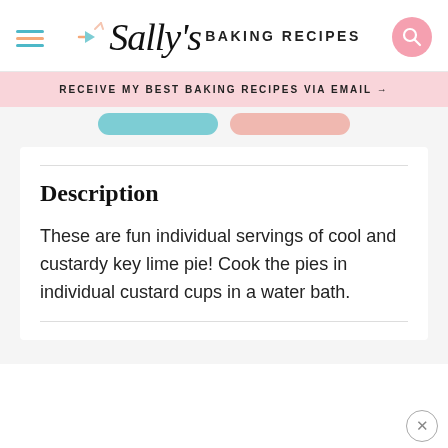[Figure (logo): Sally's Baking Recipes logo with hamburger menu icon on left and search icon on right]
RECEIVE MY BEST BAKING RECIPES VIA EMAIL →
Description
These are fun individual servings of cool and custardy key lime pie! Cook the pies in individual custard cups in a water bath.